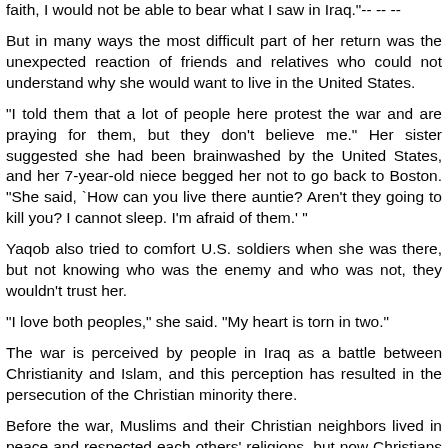faith, I would not be able to bear what I saw in Iraq."-- -- --
But in many ways the most difficult part of her return was the unexpected reaction of friends and relatives who could not understand why she would want to live in the United States.
"I told them that a lot of people here protest the war and are praying for them, but they don't believe me." Her sister suggested she had been brainwashed by the United States, and her 7-year-old niece begged her not to go back to Boston. "She said, `How can you live there auntie? Aren't they going to kill you? I cannot sleep. I'm afraid of them.' "
Yaqob also tried to comfort U.S. soldiers when she was there, but not knowing who was the enemy and who was not, they wouldn't trust her.
"I love both peoples," she said. "My heart is torn in two."
The war is perceived by people in Iraq as a battle between Christianity and Islam, and this perception has resulted in the persecution of the Christian minority there.
Before the war, Muslims and their Christian neighbors lived in peace and respected each others' religions, but now Christians are openly persecuted. Several churches have